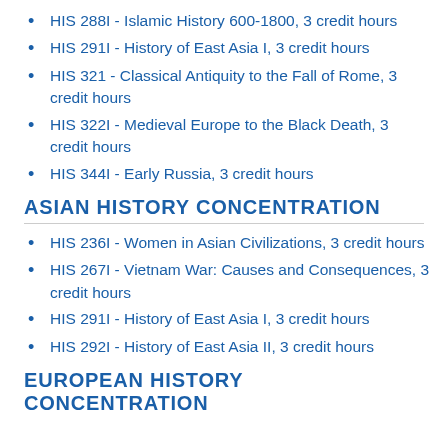HIS 288I - Islamic History 600-1800, 3 credit hours
HIS 291I - History of East Asia I, 3 credit hours
HIS 321 - Classical Antiquity to the Fall of Rome, 3 credit hours
HIS 322I - Medieval Europe to the Black Death, 3 credit hours
HIS 344I - Early Russia, 3 credit hours
ASIAN HISTORY CONCENTRATION
HIS 236I - Women in Asian Civilizations, 3 credit hours
HIS 267I - Vietnam War: Causes and Consequences, 3 credit hours
HIS 291I - History of East Asia I, 3 credit hours
HIS 292I - History of East Asia II, 3 credit hours
EUROPEAN HISTORY CONCENTRATION